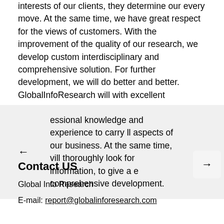interests of our clients, they determine our every move. At the same time, we have great respect for the views of customers. With the improvement of the quality of our research, we develop custom interdisciplinary and comprehensive solution. For further development, we will do better and better. GlobalInfoResearch will with excellent
essional knowledge and experience to carry ll aspects of our business. At the same time, vill thoroughly look for information, to give a e comprehensive development.
Contact US
Global Info Research
E-mail: report@globalinforesearch.com